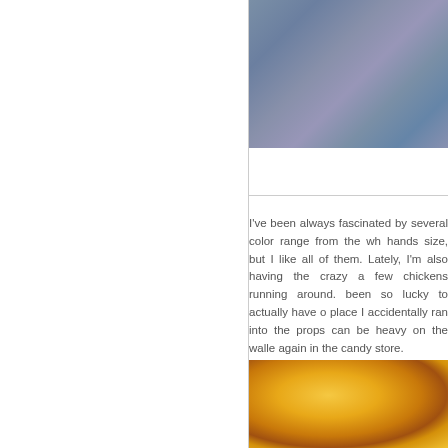[Figure (photo): Close-up texture of blue/grey fabric or denim material]
I've been always fascinated by several color range from the whole hands size, but I like all of them. Lately, I'm also having the crazy a few chickens running around. been so lucky to actually have o place I accidentally ran into the props can be heavy on the walle again in the candy store.
[Figure (photo): Close-up macro photo of a golden-brown fried or baked food item with dark caramelized spots]